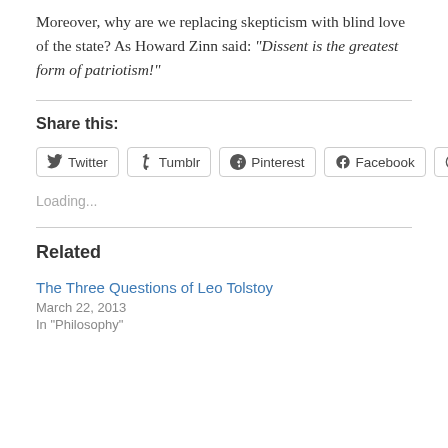Moreover, why are we replacing skepticism with blind love of the state? As Howard Zinn said: “Dissent is the greatest form of patriotism!”
Share this:
Twitter | Tumblr | Pinterest | Facebook | Reddit
Loading...
Related
The Three Questions of Leo Tolstoy
March 22, 2013
In “Philosophy”